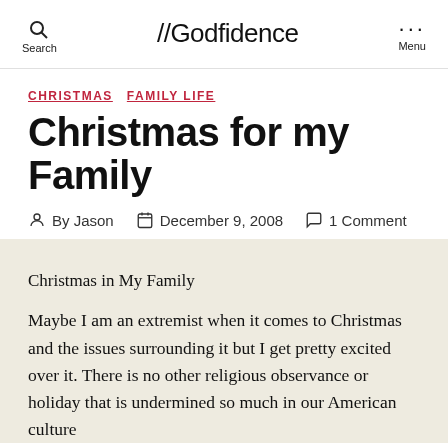//Godfidence
CHRISTMAS  FAMILY LIFE
Christmas for my Family
By Jason  December 9, 2008  1 Comment
Christmas in My Family
Maybe I am an extremist when it comes to Christmas and the issues surrounding it but I get pretty excited over it. There is no other religious observance or holiday that is undermined so much in our American culture